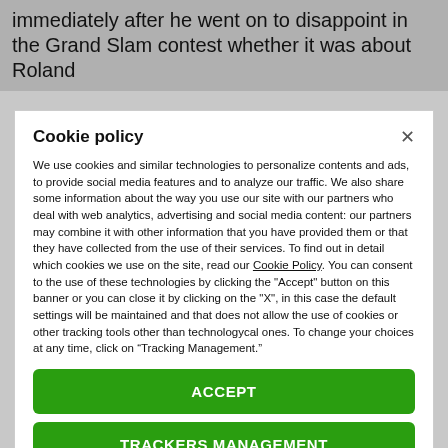immediately after he went on to disappoint in the Grand Slam contest whether it was about Roland
Cookie policy
We use cookies and similar technologies to personalize contents and ads, to provide social media features and to analyze our traffic. We also share some information about the way you use our site with our partners who deal with web analytics, advertising and social media content: our partners may combine it with other information that you have provided them or that they have collected from the use of their services. To find out in detail which cookies we use on the site, read our Cookie Policy. You can consent to the use of these technologies by clicking the "Accept" button on this banner or you can close it by clicking on the "X", in this case the default settings will be maintained and that does not allow the use of cookies or other tracking tools other than technologycal ones. To change your choices at any time, click on “Tracking Management.”
ACCEPT
TRACKERS MANAGEMENT
Show vendors | Show purposes